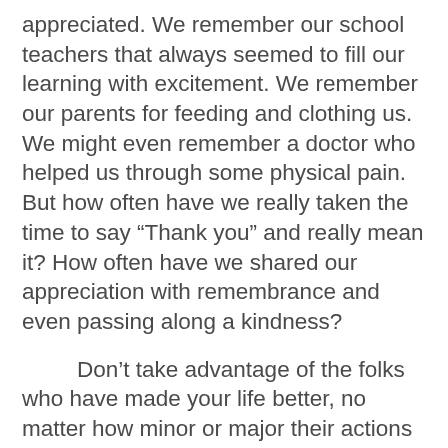appreciated. We remember our school teachers that always seemed to fill our learning with excitement. We remember our parents for feeding and clothing us. We might even remember a doctor who helped us through some physical pain. But how often have we really taken the time to say “Thank you” and really mean it? How often have we shared our appreciation with remembrance and even passing along a kindness?
Don’t take advantage of the folks who have made your life better, no matter how minor or major their actions might have been. Get into the habit of letting someone know that they have made even a part of your day a little more pleasant, or your life a whole lot easier. Let your children know the joy they bring to you daily, and let your parents know how much you appreciate every time that they put you first. If you are a boss your employee’s paycheck may be very welcomed, but also letting him/her know that you appreciate the good job she is doing